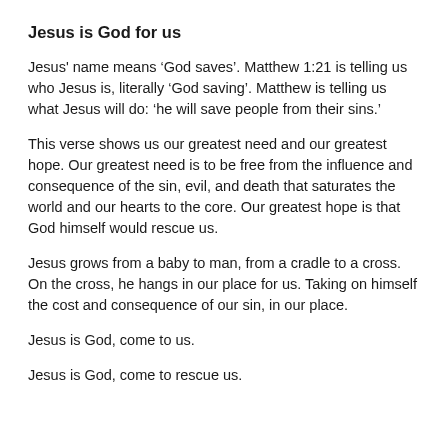Jesus is God for us
Jesus' name means ‘God saves’. Matthew 1:21 is telling us who Jesus is, literally ‘God saving’. Matthew is telling us what Jesus will do: ‘he will save people from their sins.’
This verse shows us our greatest need and our greatest hope. Our greatest need is to be free from the influence and consequence of the sin, evil, and death that saturates the world and our hearts to the core. Our greatest hope is that God himself would rescue us.
Jesus grows from a baby to man, from a cradle to a cross. On the cross, he hangs in our place for us. Taking on himself the cost and consequence of our sin, in our place.
Jesus is God, come to us.
Jesus is God, come to rescue us.